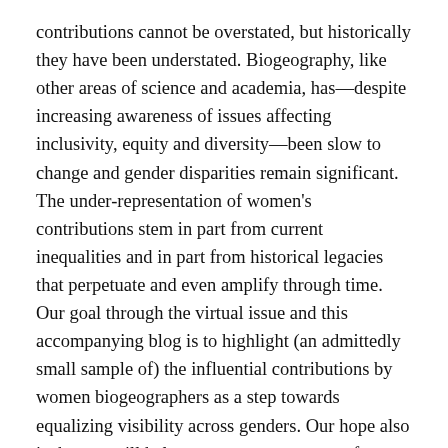contributions cannot be overstated, but historically they have been understated. Biogeography, like other areas of science and academia, has—despite increasing awareness of issues affecting inclusivity, equity and diversity—been slow to change and gender disparities remain significant. The under-representation of women's contributions stem in part from current inequalities and in part from historical legacies that perpetuate and even amplify through time. Our goal through the virtual issue and this accompanying blog is to highlight (an admittedly small sample of) the influential contributions by women biogeographers as a step towards equalizing visibility across genders. Our hope also is that we will help create a greater sense of belonging for women in biogeography.
Virtual issue: (Free to read online for 3 months post